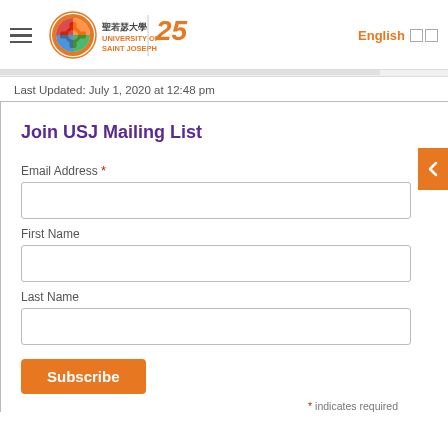University of Saint Joseph — USJ Mailing List page header with navigation, logo, English language toggle
Last Updated: July 1, 2020 at 12:48 pm
Join USJ Mailing List
Email Address *
First Name
Last Name
Subscribe
* indicates required